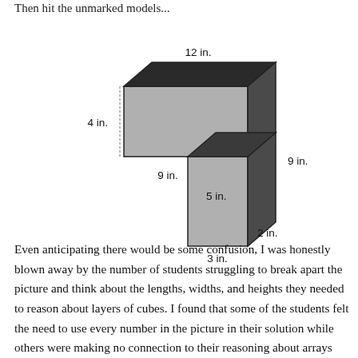Then hit the unmarked models...
[Figure (engineering-diagram): 3D L-shaped solid figure with labeled dimensions: 12 in. (top width), 4 in. (left height), 9 in. (inner width), 9 in. (right total height), 5 in. (inner depth/height step), 2 in. (right bottom height), 3 in. (bottom width)]
Even anticipating there would be some confusion, I was honestly blown away by the number of students struggling to break apart the picture and think about the lengths, widths, and heights they needed to reason about layers of cubes. I found that some of the students felt the need to use every number in the picture in their solution while others were making no connection to their reasoning about arrays and layers. They could describe how they